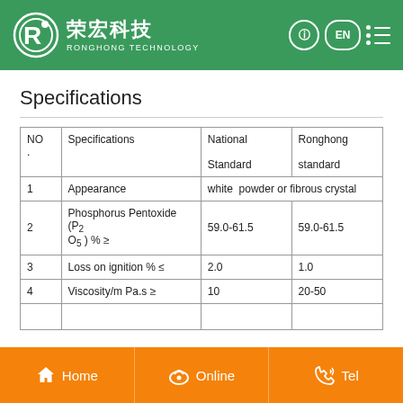荣宏科技 RONGHONG TECHNOLOGY
Specifications
| NO. | Specifications | National Standard | Ronghong standard |
| --- | --- | --- | --- |
| 1 | Appearance | white  powder or fibrous crystal | white  powder or fibrous crystal |
| 2 | Phosphorus Pentoxide (P2O5) % ≥ | 59.0-61.5 | 59.0-61.5 |
| 3 | Loss on ignition % ≤ | 2.0 | 1.0 |
| 4 | Viscosity/m Pa.s  ≥ | 10 | 20-50 |
Home   Online   Tel